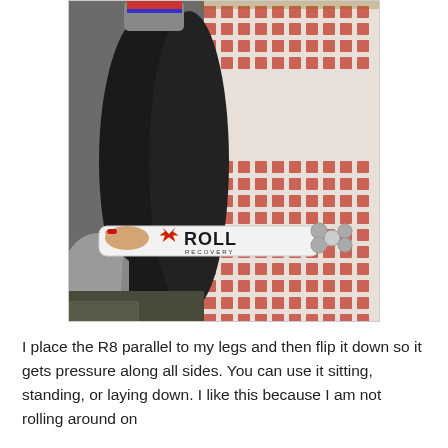[Figure (photo): A person wearing black leggings sitting down, using a Roll Recovery R8 massage roller on their legs. The roller is white with a red Roll Recovery logo. A patterned red and white rug is visible in the background.]
I place the R8 parallel to my legs and then flip it down so it gets pressure along all sides. You can use it sitting, standing, or laying down.  I like this because I am not rolling around on